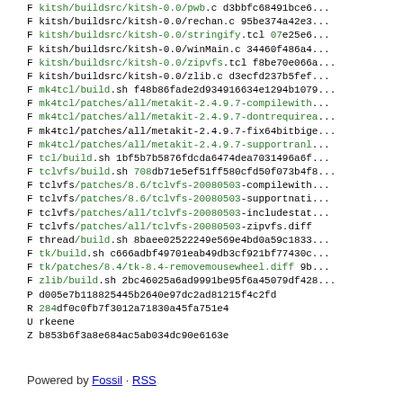F kitsh/buildsrc/kitsh-0.0/pwb.c d3bbfc68491bce6...
F kitsh/buildsrc/kitsh-0.0/rechan.c 95be374a42e3...
F kitsh/buildsrc/kitsh-0.0/stringify.tcl 07e25e6...
F kitsh/buildsrc/kitsh-0.0/winMain.c 34460f486a4...
F kitsh/buildsrc/kitsh-0.0/zipvfs.tcl f8be70e066a...
F kitsh/buildsrc/kitsh-0.0/zlib.c d3ecfd237b5fef...
F mk4tcl/build.sh f48b86fade2d934916634e1294b1079...
F mk4tcl/patches/all/metakit-2.4.9.7-compilewith...
F mk4tcl/patches/all/metakit-2.4.9.7-dontrequirea...
F mk4tcl/patches/all/metakit-2.4.9.7-fix64bitbige...
F mk4tcl/patches/all/metakit-2.4.9.7-supportranl...
F tcl/build.sh 1bf5b7b5876fdcda6474dea7031496a6f...
F tclvfs/build.sh 708db71e5ef51ff580cfd50f073b4f8...
F tclvfs/patches/8.6/tclvfs-20080503-compilewith...
F tclvfs/patches/8.6/tclvfs-20080503-supportnati...
F tclvfs/patches/all/tclvfs-20080503-includestat...
F tclvfs/patches/all/tclvfs-20080503-zipvfs.diff...
F thread/build.sh 8baee02522249e569e4bd0a59c1833...
F tk/build.sh c666adbf49701eab49db3cf921bf77430c...
F tk/patches/8.4/tk-8.4-removemousewheel.diff 9b...
F zlib/build.sh 2bc46025a6ad9991be95f6a45079df428...
P d005e7b118825445b2640e97dc2ad81215f4c2fd
R 284df0c0fb7f3012a71830a45fa751e4
U rkeene
Z b853b6f3a8e684ac5ab034dc90e6163e
Powered by Fossil · RSS